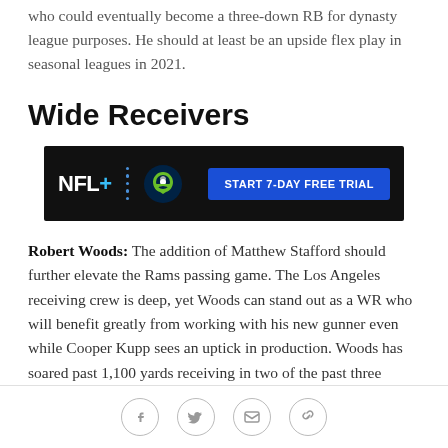who could eventually become a three-down RB for dynasty league purposes. He should at least be an upside flex play in seasonal leagues in 2021.
Wide Receivers
[Figure (other): NFL+ advertisement banner with dark background showing NFL+ logo, Seattle Seahawks logo, and a blue 'START 7-DAY FREE TRIAL' button]
Robert Woods: The addition of Matthew Stafford should further elevate the Rams passing game. The Los Angeles receiving crew is deep, yet Woods can stand out as a WR who will benefit greatly from working with his new gunner even while Cooper Kupp sees an uptick in production. Woods has soared past 1,100 yards receiving in two of the past three seasons while
Social sharing icons: Facebook, Twitter, Email, Link